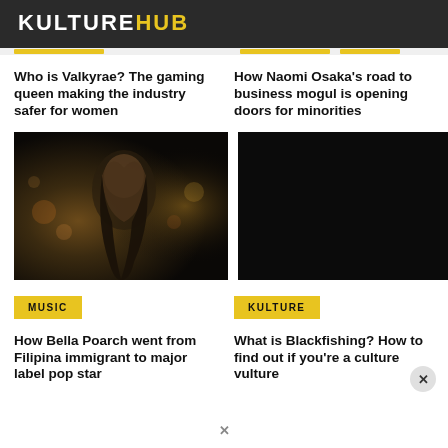KULTUREHUB
Who is Valkyrae? The gaming queen making the industry safer for women
How Naomi Osaka’s road to business mogul is opening doors for minorities
[Figure (photo): Dark photo of a woman with long straight black hair looking to the side, dimly lit with warm bokeh background]
[Figure (photo): Nearly all-black dark image, very little detail visible]
MUSIC
KULTURE
How Bella Poarch went from Filipina immigrant to major label pop star
What is Blackfishing? How to find out if you’re a culture vulture